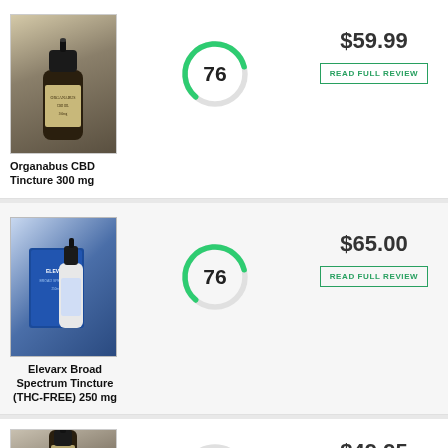[Figure (photo): Organabus CBD Tincture 300mg product photo - dark amber dropper bottle]
Organabus CBD Tincture 300 mg
[Figure (other): Score circle showing 76]
$59.99
READ FULL REVIEW
[Figure (photo): Elevarx Broad Spectrum Tincture THC-FREE 250mg product photo - blue box with dropper bottle]
Elevarx Broad Spectrum Tincture (THC-FREE) 250 mg
[Figure (other): Score circle showing 76]
$65.00
READ FULL REVIEW
[Figure (photo): Third product dropper bottle - partially visible]
$49.95